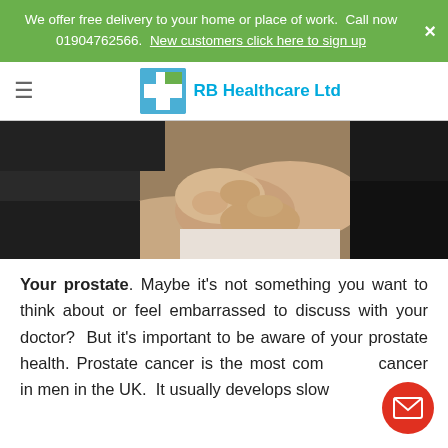We offer free delivery to your home or place of work.  Call now 01904762566.  New customers click here to sign up
[Figure (logo): RB Healthcare Ltd logo with blue and green cross icon and blue text]
[Figure (photo): Two people clasping hands, one in black clothing, suggesting support or consultation]
Your prostate. Maybe it's not something you want to think about or feel embarrassed to discuss with your doctor?  But it's important to be aware of your prostate health. Prostate cancer is the most common cancer in men in the UK.  It usually develops slowly, so there may never be any...